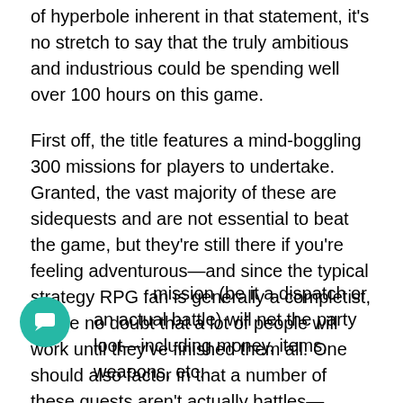of hyperbole inherent in that statement, it's no stretch to say that the truly ambitious and industrious could be spending well over 100 hours on this game.
First off, the title features a mind-boggling 300 missions for players to undertake. Granted, the vast majority of these are sidequests and are not essential to beat the game, but they're still there if you're feeling adventurous—and since the typical strategy RPG fan is generally a completist, I have no doubt that a lot of people will work until they've finished them all. One should also factor in that a number of these quests aren't actually battles—they're simply dispatch missions wherein the player sends out one of their stable of fighters to handle the situation. Sending the right character (with the right amount of enthusiasm for the job) will help ensure a successful outcome.
Each mission (be it a dispatch or an actual battle) will net the party loot—including money, items, weapons, etc.